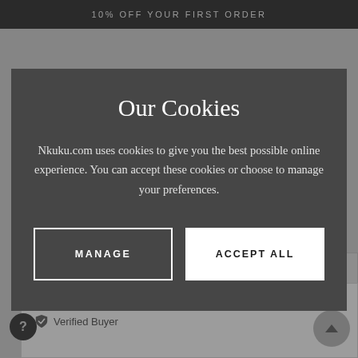10% OFF YOUR FIRST ORDER
Our Cookies
Nkuku.com uses cookies to give you the best possible online experience. You can accept these cookies or choose to manage your preferences.
MANAGE
ACCEPT ALL
Most Recent
Shannon B.
Verified Buyer